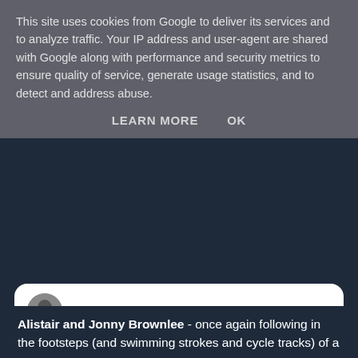This site uses cookies from Google to deliver its services and to analyze traffic. Your IP address and user-agent are shared with Google along with performance and security metrics to ensure quality of service, generate usage statistics, and to detect and address abuse.
LEARN MORE   OK
@Zara_Dampney · Follow
@pierateers MetroUK but I certainly do like a good pie!!
6:47 PM · Aug 19, 2014
♡ 1   Reply   Copy link to Tweet
Read 2 replies
Alistair and Jonny Brownlee - once again following in the footsteps (and swimming strokes and cycle tracks) of a